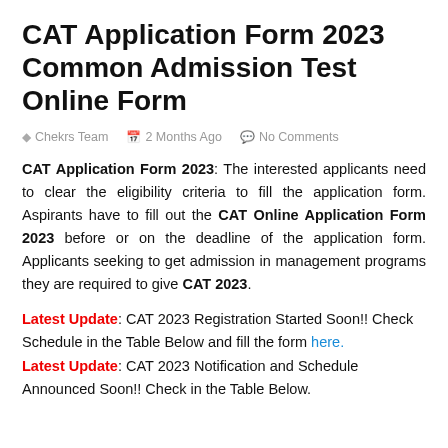CAT Application Form 2023 Common Admission Test Online Form
Chekrs Team   2 Months Ago   No Comments
CAT Application Form 2023: The interested applicants need to clear the eligibility criteria to fill the application form. Aspirants have to fill out the CAT Online Application Form 2023 before or on the deadline of the application form. Applicants seeking to get admission in management programs they are required to give CAT 2023.
Latest Update: CAT 2023 Registration Started Soon!! Check Schedule in the Table Below and fill the form here.
Latest Update: CAT 2023 Notification and Schedule Announced Soon!! Check in the Table Below.